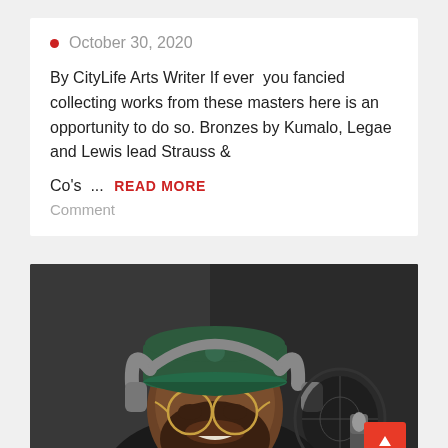October 30, 2020
By CityLife Arts Writer If ever  you fancied collecting works from these masters here is an opportunity to do so. Bronzes by Kumalo, Legae and Lewis lead Strauss &amp;
Co's ...  READ MORE
Comment
[Figure (photo): Man wearing a green cap and headphones, sitting in front of a studio microphone with a pop filter, appearing to be recording or singing. A red scroll-to-top button is visible in the lower right corner.]